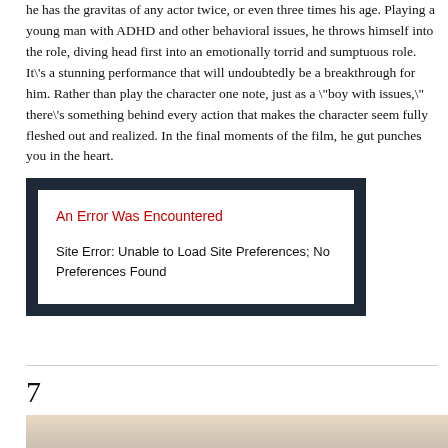he has the gravitas of any actor twice, or even three times his age. Playing a young man with ADHD and other behavioral issues, he throws himself into the role, diving head first into an emotionally torrid and sumptuous role. It\'s a stunning performance that will undoubtedly be a breakthrough for him. Rather than play the character one note, just as a \"boy with issues,\" there\'s something behind every action that makes the character seem fully fleshed out and realized. In the final moments of the film, he gut punches you in the heart.
[Figure (screenshot): Error box with dark navy background containing a white inner box. Red heading reads 'An Error Was Encountered'. Body text reads: 'Site Error: Unable to Load Site Preferences; No Preferences Found']
7
[Figure (photo): Bottom portion of a photo showing a person against a light beige/cream background, partially visible at the bottom of the page.]